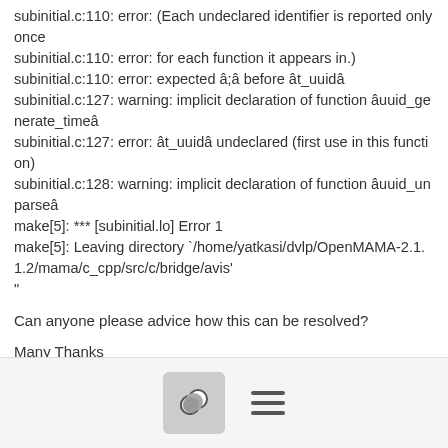subinitial.c:110: error: (Each undeclared identifier is reported only once
subinitial.c:110: error: for each function it appears in.)
subinitial.c:110: error: expected â;â before ât_uuidâ
subinitial.c:127: warning: implicit declaration of function âuuid_generate_timeâ
subinitial.c:127: error: ât_uuidâ undeclared (first use in this function)
subinitial.c:128: warning: implicit declaration of function âuuid_unparseâ
make[5]: *** [subinitial.lo] Error 1
make[5]: Leaving directory `/home/yatkasi/dvlp/OpenMAMA-2.1.1.2/mama/c_cpp/src/c/bridge/avis'
"
Can anyone please advice how this can be resolved?
Many Thanks